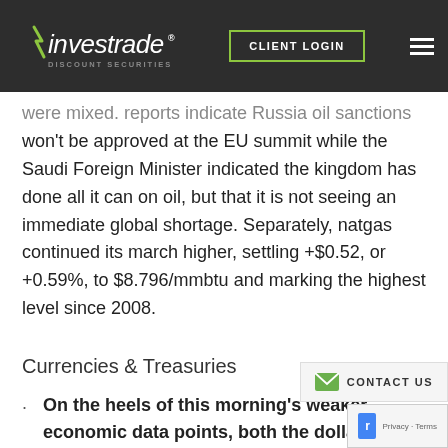investrade DISCOUNT SECURITIES — CLIENT LOGIN
were mixed. reports indicate Russia oil sanctions won't be approved at the EU summit while the Saudi Foreign Minister indicated the kingdom has done all it can on oil, but that it is not seeing an immediate global shortage. Separately, natgas continued its march higher, settling +$0.52, or +0.59%, to $8.796/mmbtu and marking the highest level since 2008.
Currencies & Treasuries
On the heels of this morning's weaker economic data points, both the dollar and